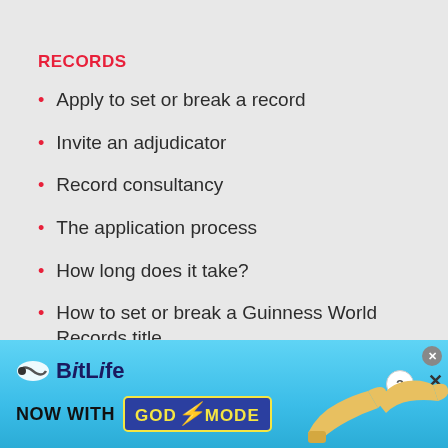RECORDS
Apply to set or break a record
Invite an adjudicator
Record consultancy
The application process
How long does it take?
How to set or break a Guinness World Records title
[Figure (illustration): BitLife advertisement banner with blue gradient background showing BitLife logo, 'NOW WITH GOD MODE' text, and pointing hand illustrations]